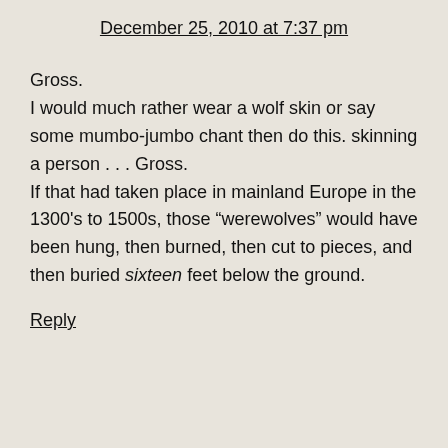December 25, 2010 at 7:37 pm
Gross.
I would much rather wear a wolf skin or say some mumbo-jumbo chant then do this. skinning a person . . . Gross.
If that had taken place in mainland Europe in the 1300’s to 1500s, those “werewolves” would have been hung, then burned, then cut to pieces, and then buried sixteen feet below the ground.
Reply